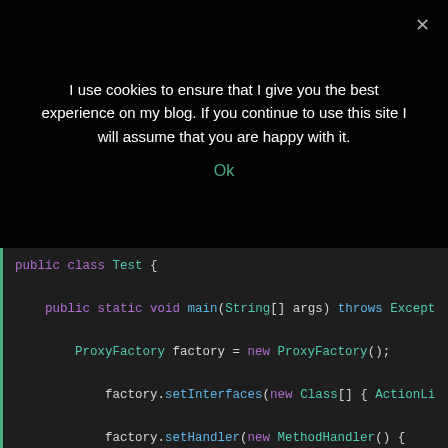I use cookies to ensure that I give you the best experience on my blog. If you continue to use this site I will assume that you are happy with it.
Ok
[Figure (screenshot): Java code snippet showing a public class Test with main method, ProxyFactory setup, setInterfaces with new Class[] ActionLi..., setHandler with new MethodHandler(), public Object invoke(Object arg0, Method method,...), String name = method.getName();, if(name.equals("toString")) {, return "toString was called";, }]